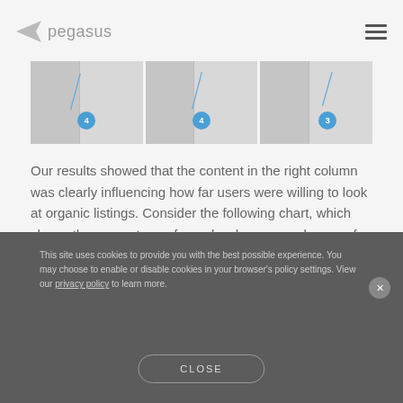pegasus
[Figure (screenshot): Three side-by-side panels showing document page screenshots with blue numbered badges (4, 4, 3) and arrow lines pointing to areas of interest]
Our results showed that the content in the right column was clearly influencing how far users were willing to look at organic listings. Consider the following chart, which shows the percentage of people who saw each area of interest:
This site uses cookies to provide you with the best possible experience. You may choose to enable or disable cookies in your browser's policy settings. View our privacy policy to learn more.